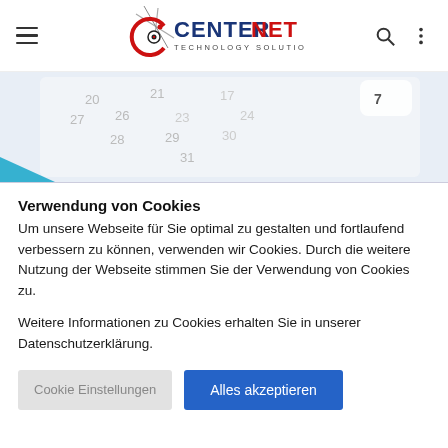[Figure (logo): CenterNet Technology Solutions logo with fish-eye and star graphic, blue and red text]
[Figure (photo): Calendar photo with numbers visible, teal accent element at bottom left]
Verwendung von Cookies
Um unsere Webseite für Sie optimal zu gestalten und fortlaufend verbessern zu können, verwenden wir Cookies. Durch die weitere Nutzung der Webseite stimmen Sie der Verwendung von Cookies zu.
Weitere Informationen zu Cookies erhalten Sie in unserer Datenschutzerklärung.
Cookie Einstellungen  Alles akzeptieren